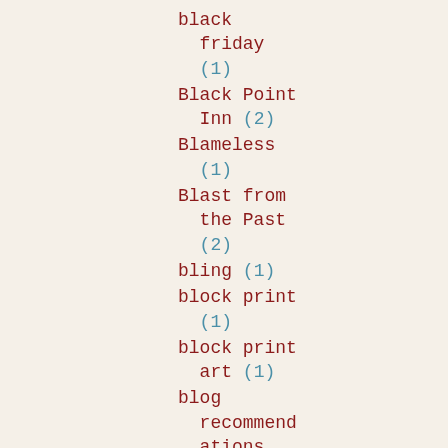black friday (1)
Black Point Inn (2)
Blameless (1)
Blast from the Past (2)
bling (1)
block print (1)
block print art (1)
blog recommendations